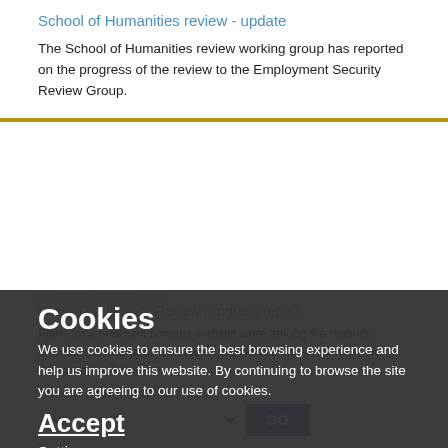School of Humanities review - update
The School of Humanities review working group has reported on the progress of the review to the Employment Security Review Group.
Published: February 2022
Cross-Disciplinary Review progress report
Plans for a new joint honours website were among the matters discussed at the latest meeting of the Senate Sub-Committee on Collaborative Provision.
Browse Reviews by date
Cookies
We use cookies to ensure the best browsing experience and help us improve this website. By continuing to browse the site you are agreeing to our use of cookies.
Accept
Settings
Find out more